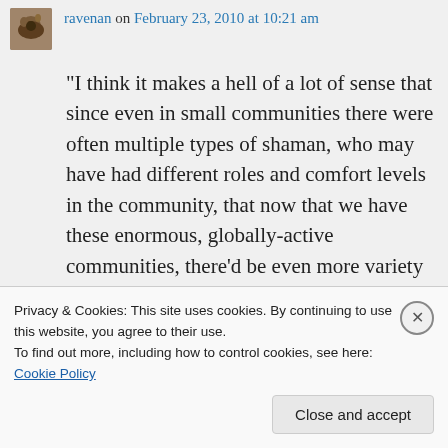ravenan on February 23, 2010 at 10:21 am
“I think it makes a hell of a lot of sense that since even in small communities there were often multiple types of shaman, who may have had different roles and comfort levels in the community, that now that we have these enormous, globally-active communities, there’d be even more variety and
Privacy & Cookies: This site uses cookies. By continuing to use this website, you agree to their use.
To find out more, including how to control cookies, see here: Cookie Policy